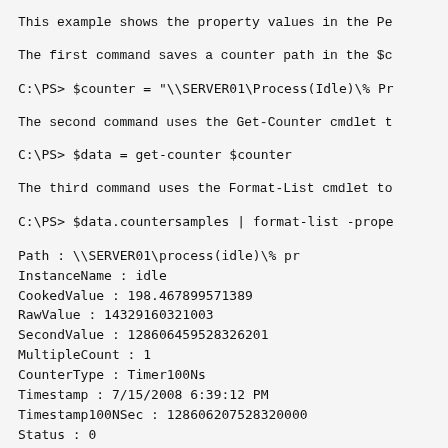This example shows the property values in the Pe
The first command saves a counter path in the $c
C:\PS> $counter = "\\SERVER01\Process(Idle)\% Pr
The second command uses the Get-Counter cmdlet t
C:\PS> $data = get-counter $counter
The third command uses the Format-List cmdlet to
C:\PS> $data.countersamples | format-list -prope
Path              : \\SERVER01\process(idle)\% pr
InstanceName     : idle
CookedValue      : 198.467899571389
RawValue         : 14329160321003
SecondValue      : 128606459528326201
MultipleCount    : 1
CounterType      : Timer100Ns
Timestamp        : 7/15/2008 6:39:12 PM
Timestamp100NSec : 128606207528320000
Status           : 0